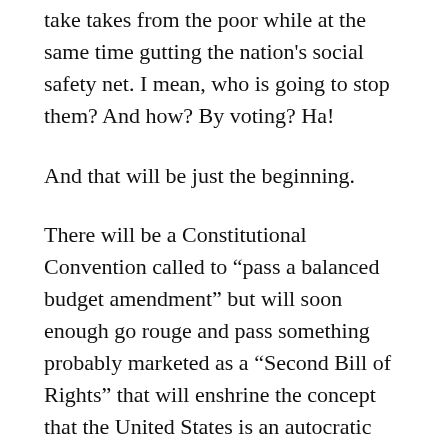take takes from the poor while at the same time gutting the nation’s social safety net. I mean, who is going to stop them? And how? By voting? Ha!
And that will be just the beginning.
There will be a Constitutional Convention called to “pass a balanced budget amendment” but will soon enough go rouge and pass something probably marketed as a “Second Bill of Rights” that will enshrine the concept that the United States is an autocratic white Christian ethno state based on the concept of “blood and soil.”
Because of how Qanon is now popular within